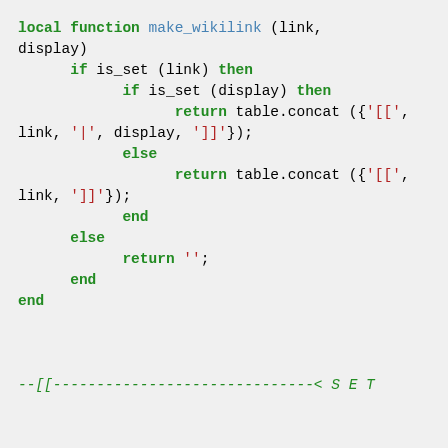[Figure (screenshot): Lua source code showing a local function make_wikilink that builds wiki link strings using table.concat, with a comment line at the bottom]